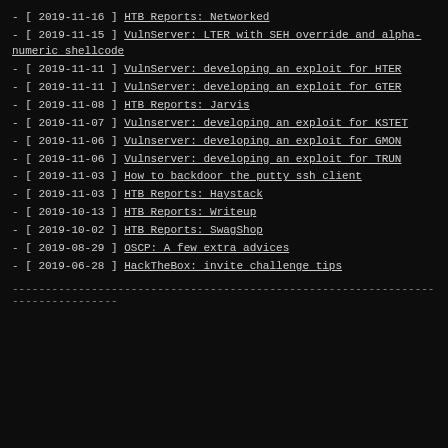- [ 2019-11-16 ] HTB Reports: Networked
- [ 2019-11-15 ] VulnServer: LTER with SEH override and alpha-numeric shellcode
- [ 2019-11-11 ] VulnServer: developing an exploit for HTER
- [ 2019-11-11 ] VulnServer: developing an exploit for GTER
- [ 2019-11-08 ] HTB Reports: Jarvis
- [ 2019-11-07 ] Vulnserver: developing an exploit for KSTET
- [ 2019-11-06 ] Vulnserver: developing an exploit for GMON
- [ 2019-11-06 ] Vulnserver: developing an exploit for TRUN
- [ 2019-11-03 ] How to backdoor the putty ssh client
- [ 2019-11-03 ] HTB Reports: Haystack
- [ 2019-10-13 ] HTB Reports: Writeup
- [ 2019-10-02 ] HTB Reports: SwagShop
- [ 2019-08-29 ] OSCP: A few extra advices
- [ 2019-06-28 ] HackTheBox: invite challenge tips
--------------------------------------------------------------------------------